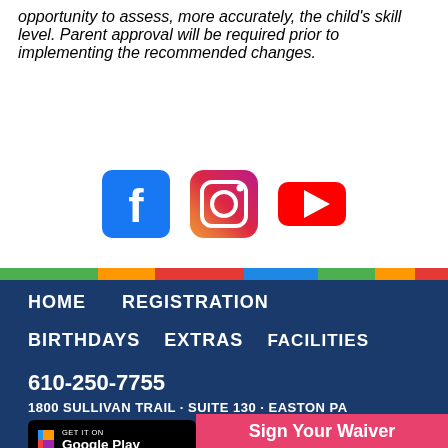opportunity to assess, more accurately, the child's skill level. Parent approval will be required prior to implementing the recommended changes.
[Figure (illustration): Social media icons: Facebook (blue square with 'f'), Instagram (purple/gradient camera icon), YouTube (red rectangle with white play triangle)]
HOME   REGISTRATION   BIRTHDAYS   EXTRAS   FACILITIES   610-250-7755   1800 SULLIVAN TRAIL · SUITE 130 · EASTON PA
[Figure (logo): Google Play store download button]
Sign Your Waiver